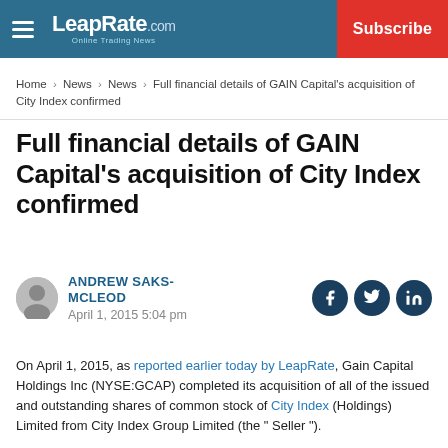LeapRate.com | Subscribe
Home › News › News › Full financial details of GAIN Capital's acquisition of City Index confirmed
Full financial details of GAIN Capital's acquisition of City Index confirmed
ANDREW SAKS-MCLEOD
April 1, 2015 5:04 pm
On April 1, 2015, as reported earlier today by LeapRate, Gain Capital Holdings Inc (NYSE:GCAP) completed its acquisition of all of the issued and outstanding shares of common stock of City Index (Holdings) Limited from City Index Group Limited (the " Seller ").
The firm has now provided full financial details with regard to the transaction in a filing with the US Securities and Exchange Commission